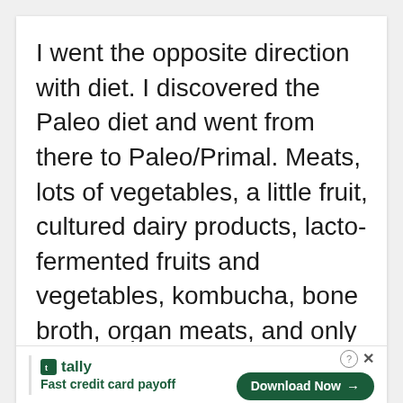I went the opposite direction with diet. I discovered the Paleo diet and went from there to Paleo/Primal. Meats, lots of vegetables, a little fruit, cultured dairy products, lacto-fermented fruits and vegetables, kombucha, bone broth, organ meats, and only good fats, like olive oil, coconut oil, and butter. And I feel fantastic! Lots of energy. And I've lost the extra weight I've carried
[Figure (other): Advertisement banner at bottom: Tally app ad with logo, tagline 'Fast credit card payoff', and 'Download Now' button with arrow. Includes close (X) and help (?) icons.]